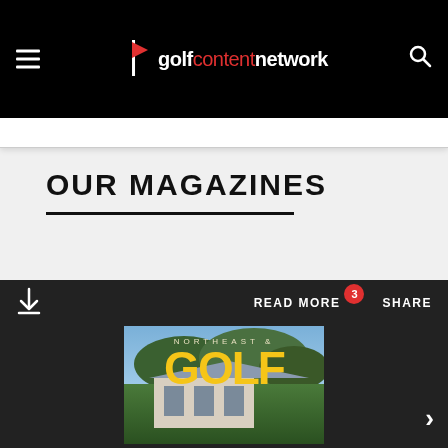[Figure (logo): Golf Content Network logo with red flag icon on black navigation bar. Hamburger menu on left, search icon on right.]
OUR MAGAZINES
[Figure (screenshot): Magazine card showing Northeast Golf magazine cover with yellow GOLF text on green background. Toolbar with download icon, READ MORE button with red badge showing '3', and SHARE button. Next arrow on right side.]